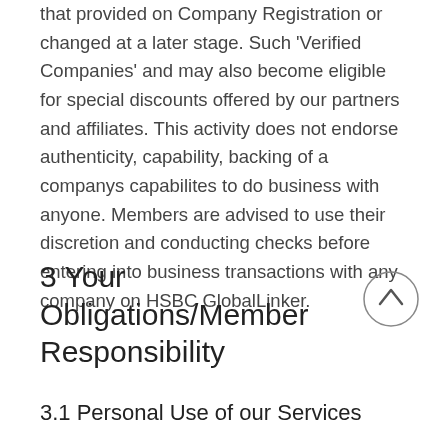that provided on Company Registration or changed at a later stage. Such 'Verified Companies' and may also become eligible for special discounts offered by our partners and affiliates. This activity does not endorse authenticity, capability, backing of a companys capabilites to do business with anyone. Members are advised to use their discretion and conducting checks before entering into business transactions with any company on HSBC GlobalLinker.
3 Your Obligations/Member Responsibility
3.1 Personal Use of our Services